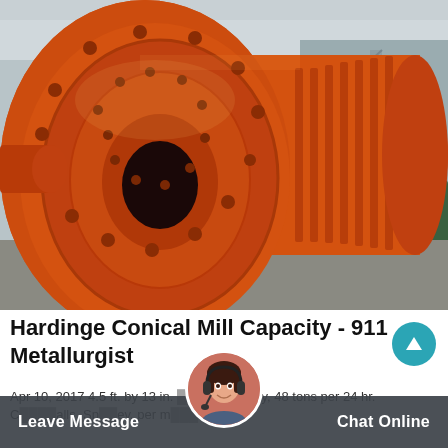[Figure (photo): Close-up photograph of a large orange industrial conical ball mill (Hardinge mill) lying horizontally in a factory/warehouse setting. The mill is bright orange with bolted flanges and cylindrical sections extending to the right. Background shows industrial building interior with green equipment visible.]
Hardinge Conical Mill Capacity - 911 Metallurgist
Apr 10, 2017 4.5 ft. by 13 in. Capacity, 48 tons per 24 hr. Charge, 4,000 gas balls. Sp. rev. per m...